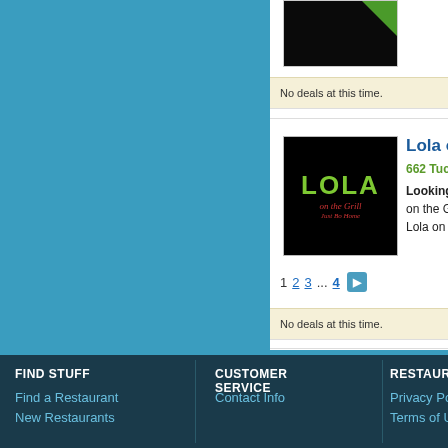[Figure (screenshot): Dark restaurant image with green corner element at top of content panel]
No deals at this time.
[Figure (logo): Lola on the Grill restaurant logo - green LOLA text on black background with red cursive 'on the Grill' text]
Lola on th...
662 Tuckahhoe...
Looking for th... on the Grill re... Lola on the G...
No deals at this time.
1  2  3 ...  4  ▶
FIND STUFF
Find a Restaurant
New Restaurants
CUSTOMER SERVICE
Contact Info
RESTAURAN...
Privacy Policy
Terms of Use